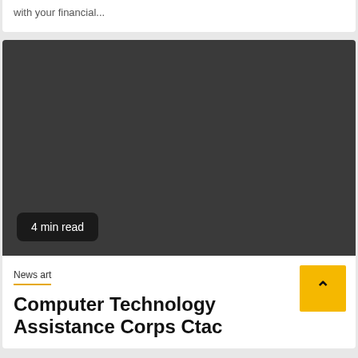with your financial...
[Figure (photo): Dark gray rectangular image placeholder, approximately 442x270px]
4 min read
News art
Computer Technology Assistance Corps Ctac